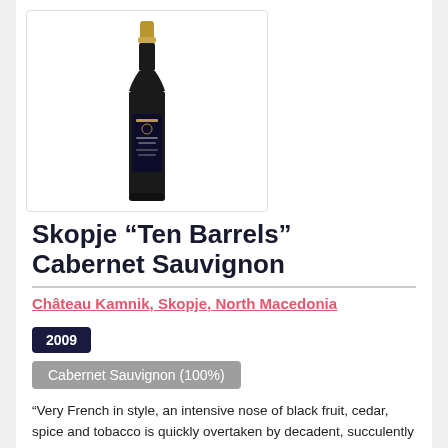[Figure (photo): A dark wine bottle with a gold foil top and a black label reading 'Kamnik Ten Barrels', displayed upright against a white background inside a bordered box.]
Skopje “Ten Barrels” Cabernet Sauvignon
Château Kamnik, Skopje, North Macedonia
2009
Cabernet Sauvignon (100%)
“Very French in style, an intensive nose of black fruit, cedar, spice and tobacco is quickly overtaken by decadent, succulently ripe cassis on the palate with a clobbering hit of spice and tannin.”
86  Paul Caputo